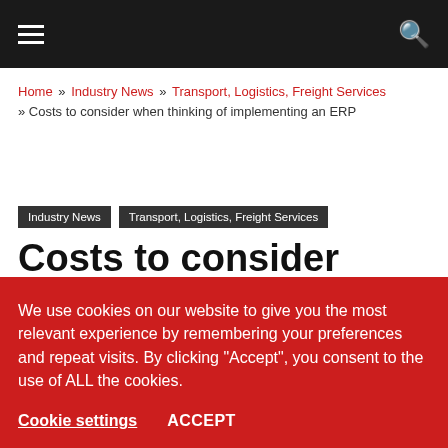Navigation bar with hamburger menu and search icon
Home » Industry News » Transport, Logistics, Freight Services » Costs to consider when thinking of implementing an ERP
Industry News   Transport, Logistics, Freight Services
Costs to consider when
We use cookies on our website to give you the most relevant experience by remembering your preferences and repeat visits. By clicking "Accept", you consent to the use of ALL the cookies.
Cookie settings   ACCEPT